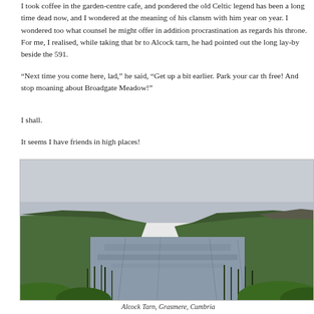I took coffee in the garden-centre cafe, and pondered the old Celtic legend has been a long time dead now, and I wondered at the meaning of his clansm with him year on year. I wondered too what counsel he might offer in addition procrastination as regards his throne. For me, I realised, while taking that br to Alcock tarn, he had pointed out the long lay-by beside the 591.
“Next time you come here, lad,” he said, “Get up a bit earlier. Park your car th free! And stop moaning about Broadgate Meadow!”
I shall.
It seems I have friends in high places!
[Figure (photo): A photograph of Alcock Tarn, Grasmere, Cumbria showing a still mountain tarn surrounded by green hills with reeds in the foreground and an overcast sky above.]
Alcock Tarn, Grasmere, Cumbria